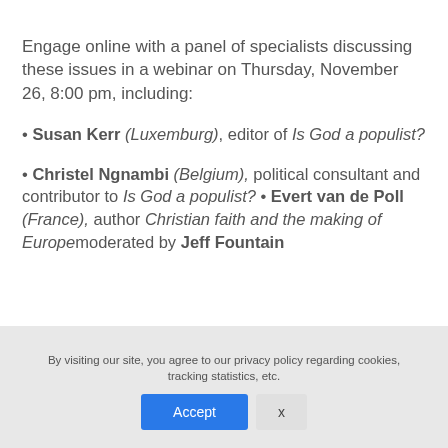Engage online with a panel of specialists discussing these issues in a webinar on Thursday, November 26, 8:00 pm, including:
• Susan Kerr (Luxemburg), editor of Is God a populist?
• Christel Ngnambi (Belgium), political consultant and contributor to Is God a populist? • Evert van de Poll (France), author Christian faith and the making of Europe moderated by Jeff Fountain
By visiting our site, you agree to our privacy policy regarding cookies, tracking statistics, etc.